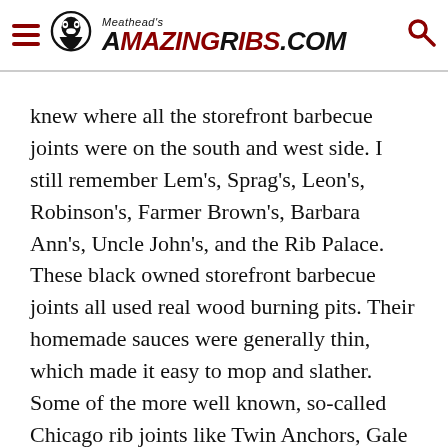Meathead's AmazingRibs.com
knew where all the storefront barbecue joints were on the south and west side. I still remember Lem’s, Sprag’s, Leon’s, Robinson’s, Farmer Brown’s, Barbara Ann’s, Uncle John’s, and the Rib Palace. These black owned storefront barbecue joints all used real wood burning pits. Their homemade sauces were generally thin, which made it easy to mop and slather. Some of the more well known, so-called Chicago rib joints like Twin Anchors, Gale Street Inn, and Carson — my Dad said he would never go there because these places sold “citified ribs” or ribs that were boiled, broiled, or baked. Being from the south, he always said, “if there ain’t no wood, it ain’t no good!” Ribs were never